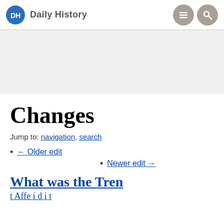Daily History
Changes
Jump to: navigation, search
← Older edit
Newer edit →
What was the Tren